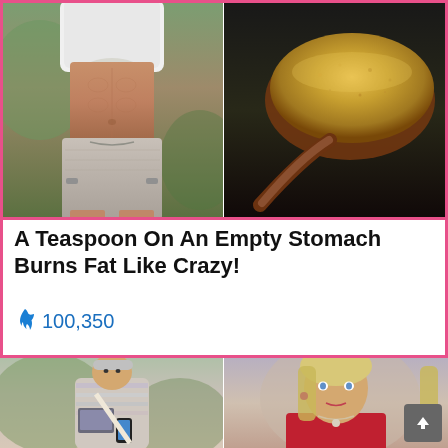[Figure (photo): Two photos side by side: left shows a woman's midriff in a white crop top and patterned shorts; right shows a wooden spoon with yellow-gold spice powder.]
A Teaspoon On An Empty Stomach Burns Fat Like Crazy!
🔥 100,350
[Figure (photo): Two photos side by side: left shows a woman with short hair wearing a striped sweater and holding a laptop and phone outdoors; right shows a young blonde woman in a red top.]